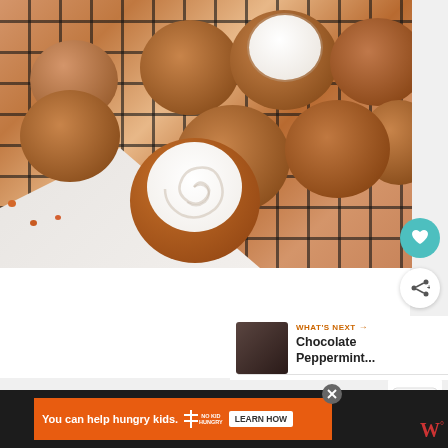[Figure (photo): Overhead view of carrot cake whoopie pies with cream cheese frosting on a black wire cooling rack. Several sandwich cookies with cream frosting visible, one prominently in foreground with swirled white frosting. Light grey surface visible in bottom-left corner with small orange raisins/crumbs scattered around.]
ADVERTISEMENT
[Figure (photo): What's Next panel showing thumbnail of Chocolate Peppermint recipe]
WHAT'S NEXT → Chocolate Peppermint...
You can help hungry kids. NO KID HUNGRY LEARN HOW